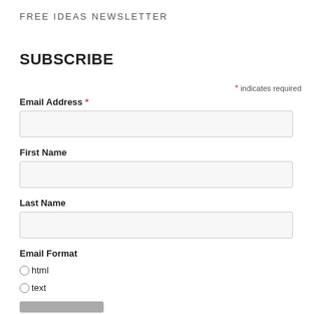FREE IDEAS NEWSLETTER
SUBSCRIBE
* indicates required
Email Address *
First Name
Last Name
Email Format
html
text